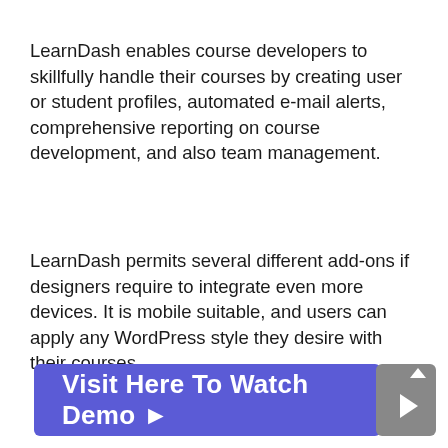LearnDash enables course developers to skillfully handle their courses by creating user or student profiles, automated e-mail alerts, comprehensive reporting on course development, and also team management.
LearnDash permits several different add-ons if designers require to integrate even more devices. It is mobile suitable, and users can apply any WordPress style they desire with their courses.
[Figure (other): Blue button with text 'Visit Here To Watch Demo' and a grey play button icon on the right]